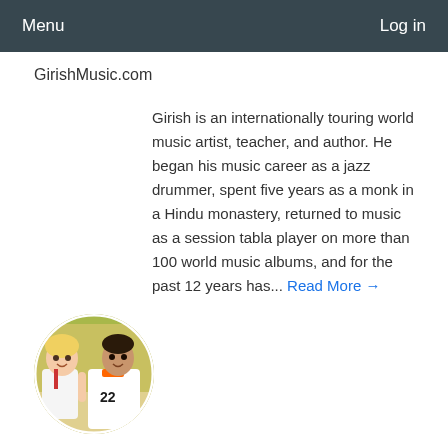Menu  Log in
GirishMusic.com
Girish is an internationally touring world music artist, teacher, and author. He began his music career as a jazz drummer, spent five years as a monk in a Hindu monastery, returned to music as a session tabla player on more than 100 world music albums, and for the past 12 years has... Read More →
[Figure (photo): Circular avatar photo showing two people — a woman and a man — posing together, with a yellow-green background.]